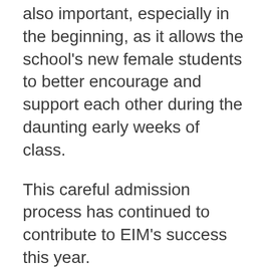also important, especially in the beginning, as it allows the school's new female students to better encourage and support each other during the daunting early weeks of class.
This careful admission process has continued to contribute to EIM's success this year.
In past years there used to be a fair amount of drop outs in the early months, with some students deciding the commitment was too much. But we're now a few months into the 2016-